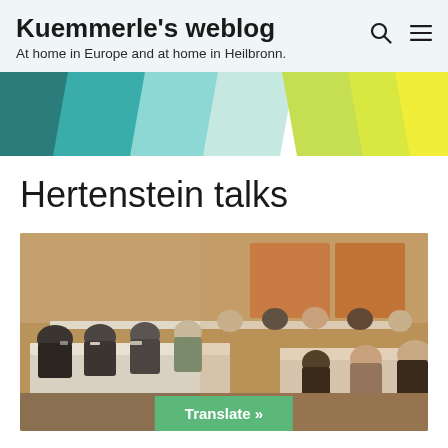Kuemmerle's weblog
At home in Europe and at home in Heilbronn.
[Figure (illustration): Colorful diagonal stripe banner with teal, cyan, light blue, light green, yellow-green and yellow stripes]
Hertenstein talks
[Figure (photo): People seated around conference tables arranged in a U-shape in a meeting room, with a green Translate button overlay at the bottom center]